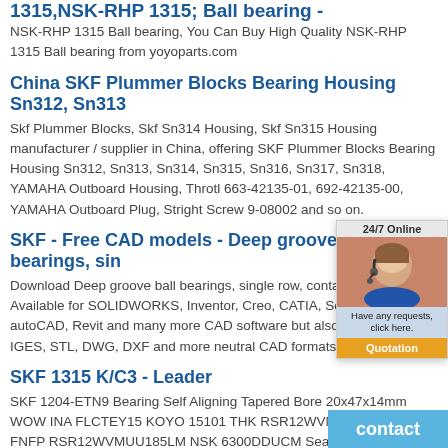1315,NSK-RHP 1315; Ball bearing -
NSK-RHP 1315 Ball bearing, You Can Buy High Quality NSK-RHP 1315 Ball bearing from yoyoparts.com
China SKF Plummer Blocks Bearing Housing Sn312, Sn313
Skf Plummer Blocks, Skf Sn314 Housing, Skf Sn315 Housing manufacturer / supplier in China, offering SKF Plummer Blocks Bearing Housing Sn312, Sn313, Sn314, Sn315, Sn316, Sn317, Sn318, YAMAHA Outboard Housing, Throttle 663-42135-01, 692-42135-00, YAMAHA Outboard Plug, Stright Screw 9-08002 and so on.
SKF - Free CAD models - Deep groove ball bearings, sin
Download Deep groove ball bearings, single row, contact seal on both sides. Available for SOLIDWORKS, Inventor, Creo, CATIA, Solid Edge, autoCAD, Revit and many more CAD software but also as STEP, STL, IGES, STL, DWG, DXF and more neutral CAD formats.
SKF 1315 K/C3 - Leader
SKF 1204-ETN9 Bearing Self Aligning Tapered Bore 20x47x14mm WOW INA FLCTEY15 KOYO 15101 THK RSR12WVMUU-185LM FNFP RSR12WVMUU185LM NSK 6300DDUCM Sealed Bearing ! NEW ! SKF EXPLORER BEARING 6001-2Z-C3GJN, 60012ZC3GJN IKO CR36VBUUR SKF 7207 BECBP TIMKEN RAK 3/4